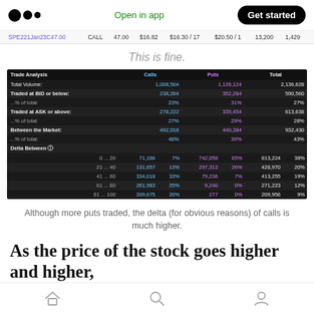Medium logo | Open in app | Get started
|  |  |  |  |  |  |  |  |
| --- | --- | --- | --- | --- | --- | --- | --- |
| SPE221Jan23C47.00 | CALL | 47.00 | $16.82 | $16.30 / 17 | $20.50 / 1 | 13,200 | 1,429 |
This is fine.
| Trade Analysis | Calls |  | Puts |  | Total |  |
| --- | --- | --- | --- | --- | --- | --- |
| Total Volume: | 1,008,504 |  | 1,128,124 |  | 2,136,628 |  |
| Traded at BID or below: | 238,264 |  | 352,284 |  | 590,560 |  |
| ...% of total: | 23% |  | 31% |  | 27% |  |
| Traded at ASK or above: | 278,222 |  | 335,454 |  | 613,638 |  |
| ...% of total: | 27% |  | 29% |  | 28% |  |
| Between the Market: | 492,018 |  | 440,384 |  | 932,430 |  |
| ...% of total: | 48% |  | 39% |  | 43% |  |
| Delta Between ⓘ |  |  |  |  |  |  |
| 0 ... 20 | 71,166 | 7% | 742,058 | 65% | 813,224 | 38% |
| 21 ... 40 | 131,657 | 13% | 297,313 | 26% | 428,970 | 20% |
| 41 ... 60 | 334,018 | 33% | 79,236 | 7% | 413,255 | 19% |
| 61 ... 80 | 261,983 | 25% | 9,240 | 0% | 271,223 | 12% |
| 81 ... 100 | 209,675 | 20% | 277 | 0% | 209,956 | 9% |
Although more puts traded, the delta (for obvious reasons) of calls is much higher.
As the price of the stock goes higher and higher,
Home | Search | Profile